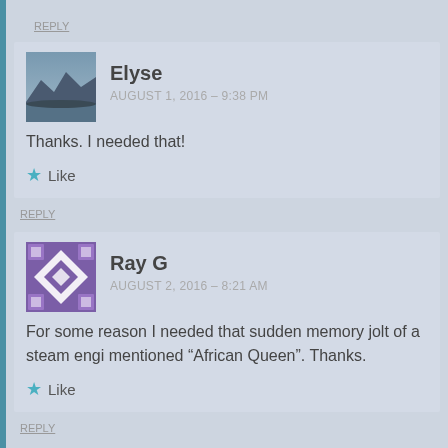REPLY
[Figure (photo): Avatar photo of Elyse – landscape/nature scene]
Elyse
AUGUST 1, 2016 – 9:38 PM
Thanks. I needed that!
Like
REPLY
[Figure (illustration): Avatar image for Ray G – abstract geometric pattern in purple and white]
Ray G
AUGUST 2, 2016 – 8:21 AM
For some reason I needed that sudden memory jolt of a steam engi mentioned “African Queen”. Thanks.
Like
REPLY